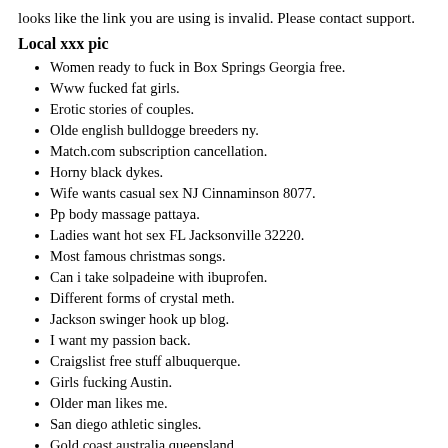looks like the link you are using is invalid. Please contact support.
Local xxx pic
Women ready to fuck in Box Springs Georgia free.
Www fucked fat girls.
Erotic stories of couples.
Olde english bulldogge breeders ny.
Match.com subscription cancellation.
Horny black dykes.
Wife wants casual sex NJ Cinnaminson 8077.
Pp body massage pattaya.
Ladies want hot sex FL Jacksonville 32220.
Most famous christmas songs.
Can i take solpadeine with ibuprofen.
Different forms of crystal meth.
Jackson swinger hook up blog.
I want my passion back.
Craigslist free stuff albuquerque.
Girls fucking Austin.
Older man likes me.
San diego athletic singles.
Gold coast australia queensland.
I want to eat you so good 2nite.